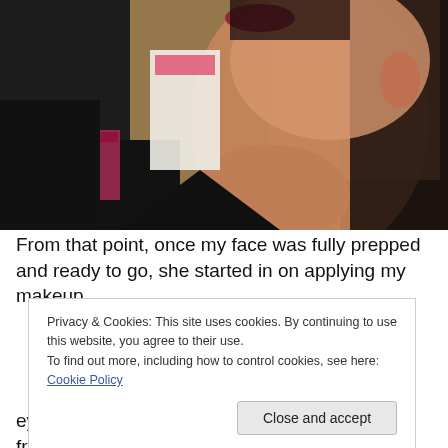[Figure (photo): Close-up photo of a person's face from below, showing neck and chin area, with dark hair, wearing a black top, with dark red/mauve lipstick visible. Background shows store shelves with cosmetics packaging.]
From that point, once my face was fully prepped and ready to go, she started in on applying my makeup
Privacy & Cookies: This site uses cookies. By continuing to use this website, you agree to their use.
To find out more, including how to control cookies, see here: Cookie Policy
Close and accept
eyeshadow on that was very sparkly and came from a